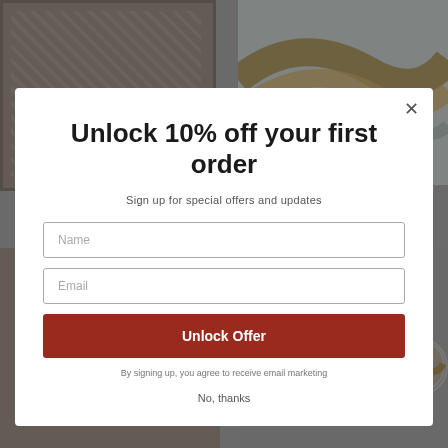[Figure (screenshot): E-commerce page background showing two rug products with an 'ADD TO CART' button and a circular thumbnail, overlaid with a semi-transparent dark overlay.]
Unlock 10% off your first order
Sign up for special offers and updates
Name (input field placeholder)
Email (input field placeholder)
Unlock Offer
By signing up, you agree to receive email marketing
No, thanks